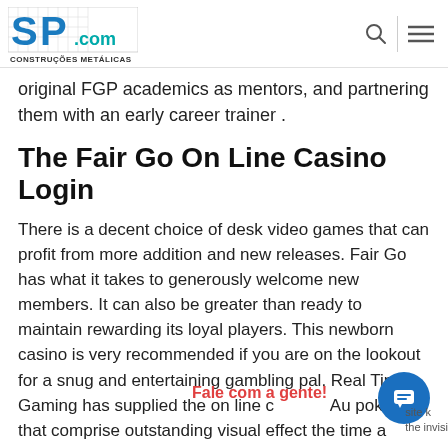SP COM CONSTRUÇÕES METÁLICAS
original FGP academics as mentors, and partnering them with an early career trainer .
The Fair Go On Line Casino Login
There is a decent choice of desk video games that can profit from more addition and new releases. Fair Go has what it takes to generously welcome new members. It can also be greater than ready to maintain rewarding its loyal players. This newborn casino is very recommended if you are on the lookout for a snug and entertaining gambling pal. Real Time Gaming has supplied the on line c Au pokies that comprise outstanding visual effect the time a pleasure to login to Fair Go Online Casino.
Fale com a gente!